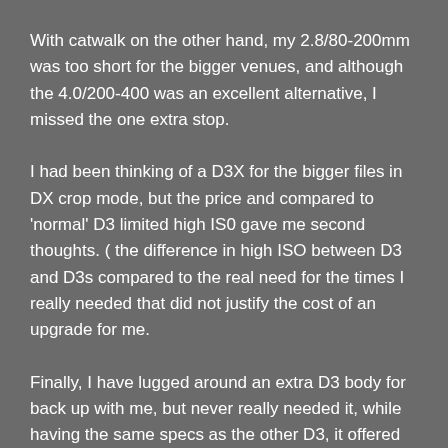With catwalk on the other hand, my 2.8/80-200mm was too short for the bigger venues, and although the 4.0/200-400 was an excellent alternative, I missed the one extra stop.
I had been thinking of a D3X for the bigger files in DX crop mode, but the price and compared to 'normal' D3 limited high IS0 gave me second thoughts. ( the difference in high ISO between D3 and D3s compared to the real need for the times I really needed that did not justify the cost of an upgrade for me.
Finally, I have lugged around an extra D3 body for back up with me, but never really needed it, while having the same specs as the other D3, it offered no new/aternative options to look out for.
Enter the D800.